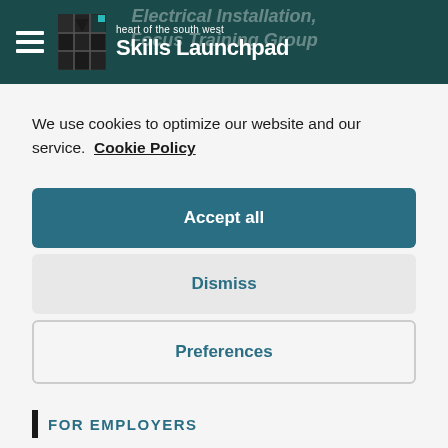heart of the south west Skills Launchpad
We use cookies to optimize our website and our service.  Cookie Policy
Accept all
Dismiss
Preferences
FOR EMPLOYERS